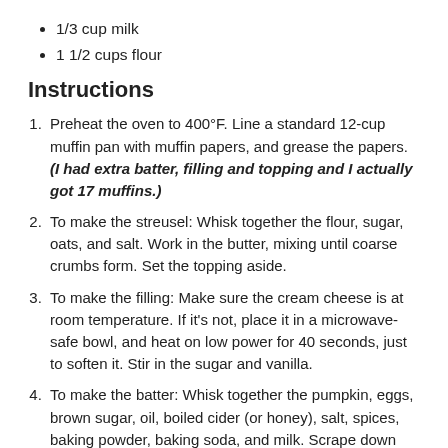1/3 cup milk
1 1/2 cups flour
Instructions
Preheat the oven to 400°F. Line a standard 12-cup muffin pan with muffin papers, and grease the papers. (I had extra batter, filling and topping and I actually got 17 muffins.)
To make the streusel: Whisk together the flour, sugar, oats, and salt. Work in the butter, mixing until coarse crumbs form. Set the topping aside.
To make the filling: Make sure the cream cheese is at room temperature. If it's not, place it in a microwave-safe bowl, and heat on low power for 40 seconds, just to soften it. Stir in the sugar and vanilla.
To make the batter: Whisk together the pumpkin, eggs, brown sugar, oil, boiled cider (or honey), salt, spices, baking powder, baking soda, and milk. Scrape down the sides and bottom of the bowl.
Add the flour and mix until well combined. Scrape...